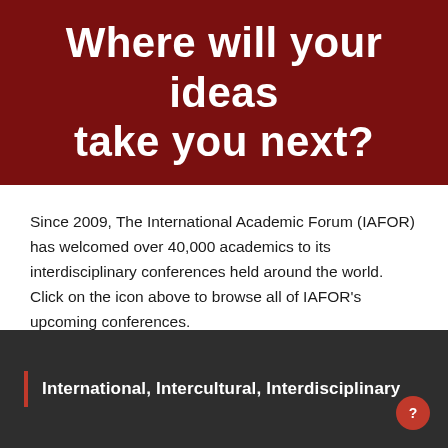[Figure (illustration): Dark red/maroon banner with large white bold text reading 'Where will your ideas take you next?']
Since 2009, The International Academic Forum (IAFOR) has welcomed over 40,000 academics to its interdisciplinary conferences held around the world. Click on the icon above to browse all of IAFOR's upcoming conferences.
International, Intercultural, Interdisciplinary